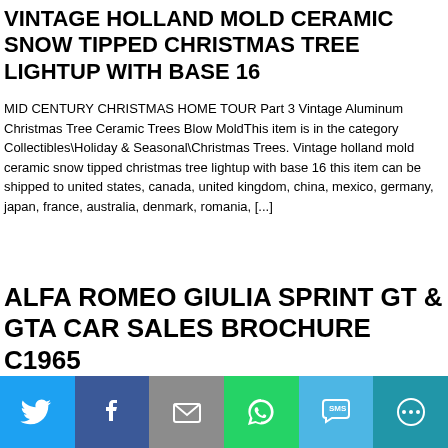VINTAGE HOLLAND MOLD CERAMIC SNOW TIPPED CHRISTMAS TREE LIGHTUP WITH BASE 16
MID CENTURY CHRISTMAS HOME TOUR Part 3 Vintage Aluminum Christmas Tree Ceramic Trees Blow MoldThis item is in the category Collectibles\Holiday & Seasonal\Christmas Trees. Vintage holland mold ceramic snow tipped christmas tree lightup with base 16 this item can be shipped to united states, canada, united kingdom, china, mexico, germany, japan, france, australia, denmark, romania, [...]
ALFA ROMEO GIULIA SPRINT GT & GTA CAR SALES BROCHURE C1965
Chris Harris Drives The Alfaholics GTA R 290 Top Gear Alfa romeo giulia sprint gt & gta car sales brochure c1965 this does not include tracking. Posters Showroom & Motor Sport. ALFA ROMEO GIULIA SPRINT GT & GTA Sales Brochure From Circa 1965 PUBLICATION No None. Books Marque Histories, Biographies, Technical, Motor Sport.
[Figure (infographic): Social sharing bar with 6 buttons: Twitter (blue), Facebook (dark blue), Email (grey), WhatsApp (green), SMS (light blue), More (teal)]